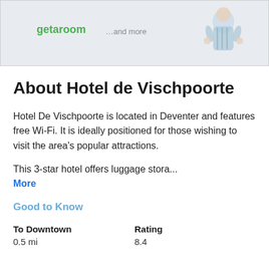[Figure (illustration): Top banner with light blue/grey background showing 'getaroom' in green text, '...and more' in grey, and a cartoon illustration of a person in pajamas on the right side.]
About Hotel de Vischpoorte
Hotel De Vischpoorte is located in Deventer and features free Wi-Fi. It is ideally positioned for those wishing to visit the area's popular attractions.
This 3-star hotel offers luggage stora...
More
Good to Know
To Downtown
0.5 mi
Rating
8.4